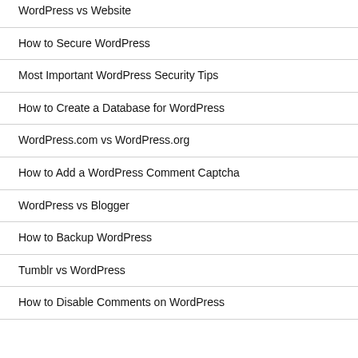WordPress vs Website
How to Secure WordPress
Most Important WordPress Security Tips
How to Create a Database for WordPress
WordPress.com vs WordPress.org
How to Add a WordPress Comment Captcha
WordPress vs Blogger
How to Backup WordPress
Tumblr vs WordPress
How to Disable Comments on WordPress